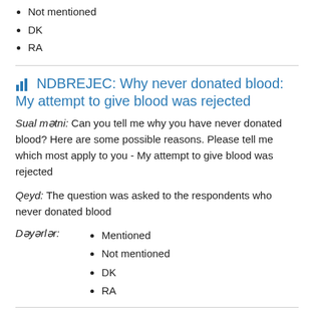Not mentioned
DK
RA
NDBREJEC: Why never donated blood: My attempt to give blood was rejected
Sual mətni: Can you tell me why you have never donated blood? Here are some possible reasons. Please tell me which most apply to you - My attempt to give blood was rejected
Qeyd: The question was asked to the respondents who never donated blood
Dəyərlər:
Mentioned
Not mentioned
DK
RA
NDBOTHER: Why never donated blood: Other
Sual mətni: Can you tell me why you have never donated blood? Here are some possible reasons. Please tell me which most apply